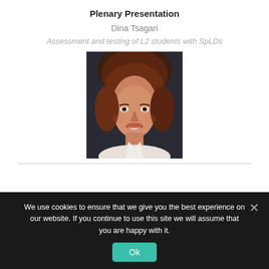Plenary Presentation
Dina Tsagari
Assessment and testing of L2 students with SpLDs
[Figure (photo): Portrait photo of Dina Tsagari, a woman with short reddish-brown hair, smiling, wearing a white blouse, against a dark background.]
We use cookies to ensure that we give you the best experience on our website. If you continue to use this site we will assume that you are happy with it.